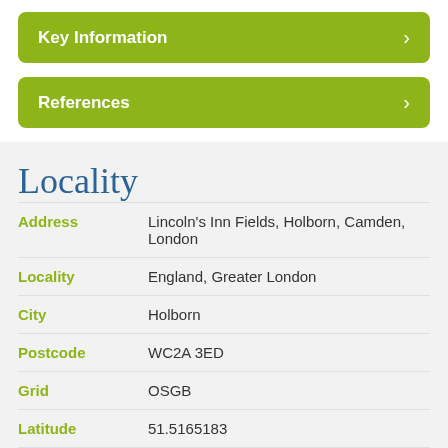Key Information
References
Locality
| Field | Value |
| --- | --- |
| Address | Lincoln's Inn Fields, Holborn, Camden, London |
| Locality | England, Greater London |
| City | Holborn |
| Postcode | WC2A 3ED |
| Grid | OSGB |
| Latitude | 51.5165183 |
| Longitude | -0.116741 |
| Map Sheet No. | 173 |